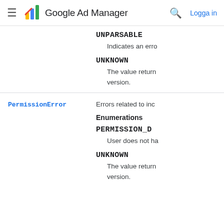Google Ad Manager — Logga in
UNPARSABLE
Indicates an erro
UNKNOWN
The value return version.
PermissionError
Errors related to inc
Enumerations
PERMISSION_D
User does not ha
UNKNOWN
The value return version.